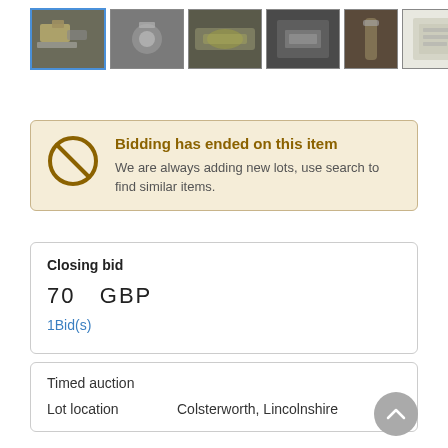[Figure (photo): Strip of 7 thumbnail images showing auction lot items (small metal objects, tools, accessories). First thumbnail is selected with blue border.]
Bidding has ended on this item
We are always adding new lots, use search to find similar items.
Closing bid
70   GBP
1Bid(s)
Timed auction
Lot location   Colsterworth, Lincolnshire